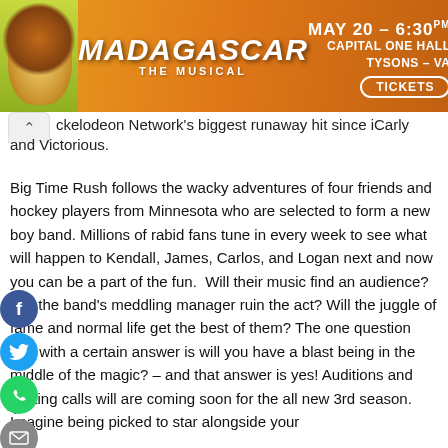[Figure (illustration): Madagascar The Musical advertisement banner with lion character, orange gradient background, text: MAY 20 - 6:30 PM, CAPITAL ONE HALL, TYSONS - VA, TICKETS button]
ckelodeon Network's biggest runaway hit since iCarly and Victorious.
Big Time Rush follows the wacky adventures of four friends and hockey players from Minnesota who are selected to form a new boy band. Millions of rabid fans tune in every week to see what will happen to Kendall, James, Carlos, and Logan next and now you can be a part of the fun.  Will their music find an audience? Will the band's meddling manager ruin the act? Will the juggle of fame and normal life get the best of them? The one question that with a certain answer is will you have a blast being in the middle of the magic? – and that answer is yes! Auditions and casting calls will are coming soon for the all new 3rd season. Imagine being picked to star alongside your